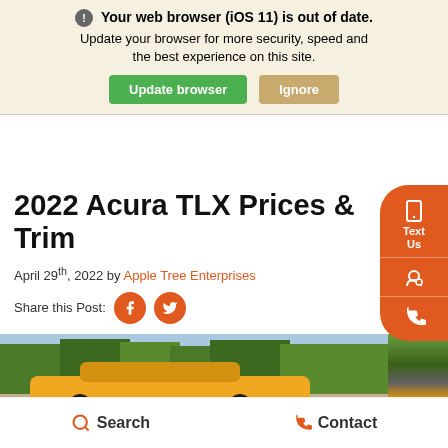Your web browser (iOS 11) is out of date. Update your browser for more security, speed and the best experience on this site.
Update browser | Ignore
2022 Acura TLX Prices & Trim
April 29th, 2022 by Apple Tree Enterprises
Share this Post:
[Figure (photo): Yellow Acura TLX car photographed outdoors with trees in background]
Search   Contact